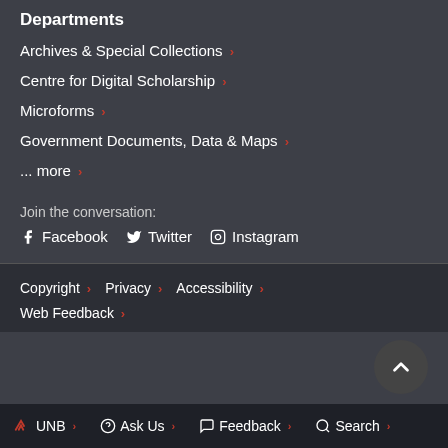Departments
Archives & Special Collections »
Centre for Digital Scholarship »
Microforms »
Government Documents, Data & Maps »
... more »
Join the conversation:
Facebook
Twitter
Instagram
Copyright » Privacy » Accessibility »
Web Feedback »
UNB » Ask Us » Feedback » Search »